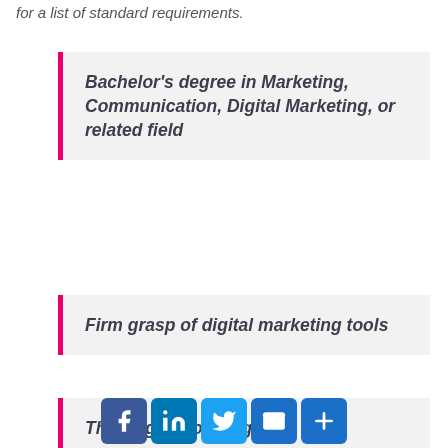for a list of standard requirements.
Bachelor's degree in Marketing, Communication, Digital Marketing, or related field
Firm grasp of digital marketing tools
Thorough knowledge of
[Figure (infographic): Social sharing icon bar with Facebook, LinkedIn, Twitter, Email, and Plus/More buttons]